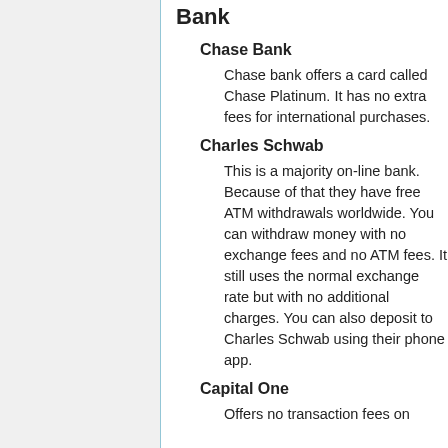Bank
Chase Bank
Chase bank offers a card called Chase Platinum. It has no extra fees for international purchases.
Charles Schwab
This is a majority on-line bank. Because of that they have free ATM withdrawals worldwide. You can withdraw money with no exchange fees and no ATM fees. It still uses the normal exchange rate but with no additional charges. You can also deposit to Charles Schwab using their phone app.
Capital One
Offers no transaction fees on...